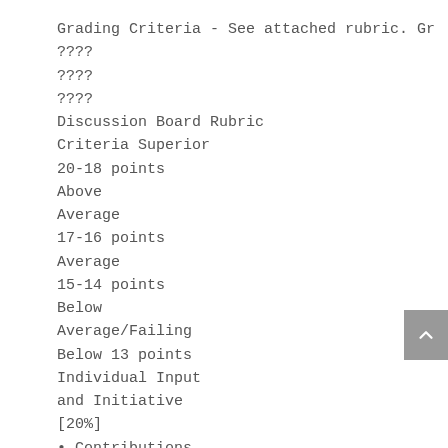Grading Criteria - See attached rubric. Gr
????
????
????
Discussion Board Rubric
Criteria Superior
20-18 points
Above
Average
17-16 points
Average
15-14 points
Below
Average/Failing
Below 13 points
Individual Input and Initiative [20%]
Contributions